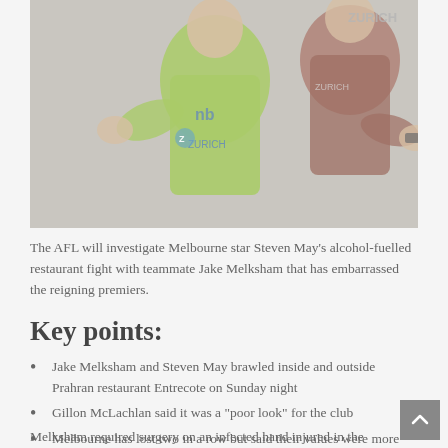[Figure (photo): Two AFL players in action, one wearing a bright green New Balance singlet with a Zurich sponsor logo, the other in a red/dark singlet also with Zurich branding. Players appear to be in physical contest during a game.]
The AFL will investigate Melbourne star Steven May's alcohol-fuelled restaurant fight with teammate Jake Melksham that has embarrassed the reigning premiers.
Key points:
Jake Melksham and Steven May brawled inside and outside Prahran restaurant Entrecote on Sunday night
Gillon McLachlan said it was a "poor look" for the club
Melbourne has lost two in a row but said their values were more important than to recall May for the Queen's Birthday clash with Collingwood
Melksham required surgery on an infected hand injured in the